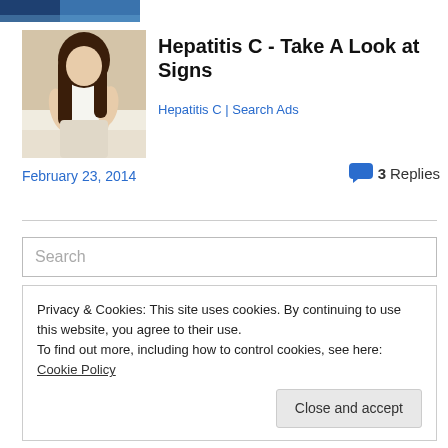[Figure (photo): Top portion of an image showing blue and dark tones, partially cropped]
[Figure (photo): Woman in white top holding her lower back, sitting on a bed]
Hepatitis C - Take A Look at Signs
Hepatitis C | Search Ads
February 23, 2014
3 Replies
Search
Privacy & Cookies: This site uses cookies. By continuing to use this website, you agree to their use.
To find out more, including how to control cookies, see here: Cookie Policy
Close and accept
Remembering Some Children and Hope
The Redesigned Notes & Sara Hatch Series And Why the Important...